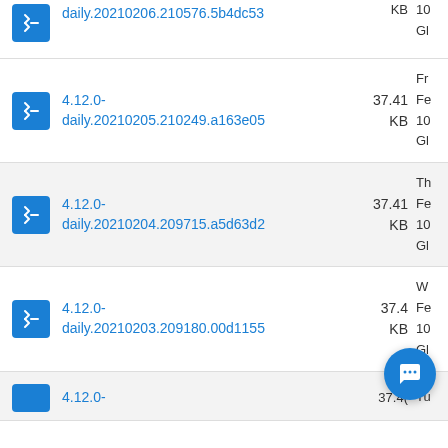4.12.0-daily.20210206.210576.5b4dc53  KB  10  Gl
4.12.0-daily.20210205.210249.a163e05  37.41 KB  Fr Fe 10 Gl
4.12.0-daily.20210204.209715.a5d63d2  37.41 KB  Th Fe 10 Gl
4.12.0-daily.20210203.209180.00d1155  37.4 KB  W Fe 10 Gl
4.12.0-  37.4(partial)  Tu